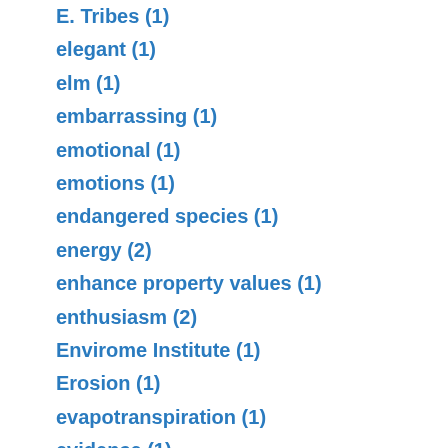E. Tribes (1)
elegant (1)
elm (1)
embarrassing (1)
emotional (1)
emotions (1)
endangered species (1)
energy (2)
enhance property values (1)
enthusiasm (2)
Envirome Institute (1)
Erosion (1)
evapotranspiration (1)
evidence (1)
Exercise (3)
families (2)